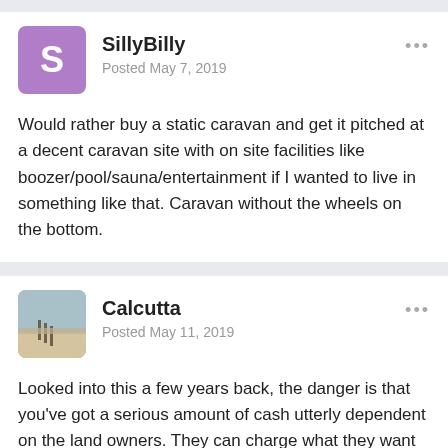SillyBilly
Posted May 7, 2019
Would rather buy a static caravan and get it pitched at a decent caravan site with on site facilities like boozer/pool/sauna/entertainment if I wanted to live in something like that. Caravan without the wheels on the bottom.
Calcutta
Posted May 11, 2019
Looked into this a few years back, the danger is that you've got a serious amount of cash utterly dependent on the land owners. They can charge what they want and you've got no escape.